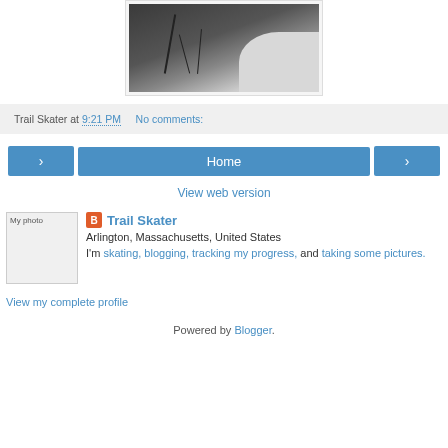[Figure (photo): Dark photograph showing ice/snow with tree reflection at edge of frozen water]
Trail Skater at 9:21 PM   No comments:
Home navigation with previous and next buttons
View web version
[Figure (photo): My photo - profile picture placeholder]
Trail Skater
Arlington, Massachusetts, United States
I'm skating, blogging, tracking my progress, and taking some pictures.
View my complete profile
Powered by Blogger.